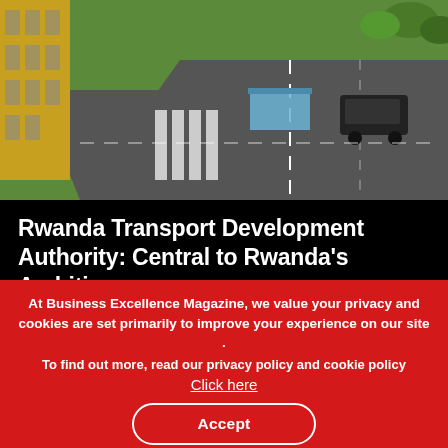[Figure (photo): Aerial view of a road intersection with a bus stop shelter, a dark van, green grass and a yellow building on the left side — Rwanda road infrastructure]
Rwanda Transport Development Authority: Central to Rwanda's Ambitions
The RTDA was founded in 2010, at a time when Rwanda's roads were in dire condition.
[Figure (photo): Partial photo strip showing blue sky and building — partially obscured by cookie overlay]
At Business Excellence Magazine, we value your privacy and cookies are set primarily to improve your experience on our site . To find out more, read our privacy policy and cookie policy Click here Accept